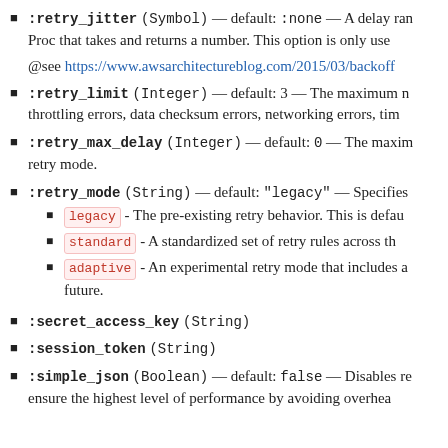:retry_jitter (Symbol) — default: :none — A delay randomization function used when... Proc that takes and returns a number. This option is only use...
@see https://www.awsarchitectureblog.com/2015/03/backoff...
:retry_limit (Integer) — default: 3 — The maximum n... throttling errors, data checksum errors, networking errors, tim...
:retry_max_delay (Integer) — default: 0 — The maxim... retry mode.
:retry_mode (String) — default: "legacy" — Specifies...
legacy - The pre-existing retry behavior. This is defau...
standard - A standardized set of retry rules across th...
adaptive - An experimental retry mode that includes... future.
:secret_access_key (String)
:session_token (String)
:simple_json (Boolean) — default: false — Disables re... ensure the highest level of performance by avoiding overhea...